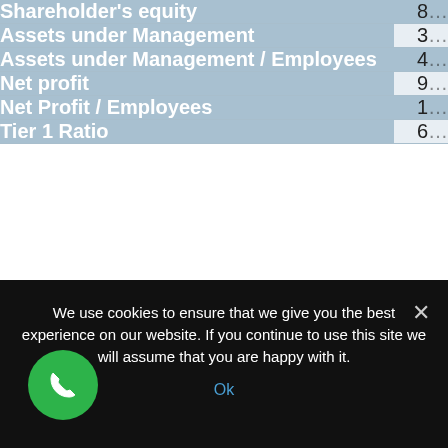| Metric | Value |
| --- | --- |
| Shareholder's equity | 8… |
| Assets under Management | 3… |
| Assets under Management / Employees | 4… |
| Net profit | 9… |
| Net Profit / Employees | 1… |
| Tier 1 Ratio | 6… |
We use cookies to ensure that we give you the best experience on our website. If you continue to use this site we will assume that you are happy with it.
Ok